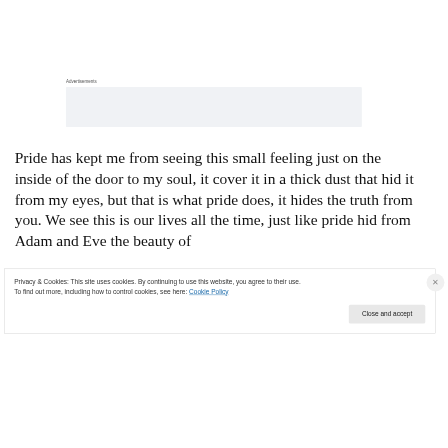Advertisements
[Figure (other): Advertisements placeholder box with partial large bold text visible at bottom]
Pride has kept me from seeing this small feeling just on the inside of the door to my soul, it cover it in a thick dust that hid it from my eyes, but that is what pride does, it hides the truth from you. We see this is our lives all the time, just like pride hid from Adam and Eve the beauty of
Privacy & Cookies: This site uses cookies. By continuing to use this website, you agree to their use.
To find out more, including how to control cookies, see here: Cookie Policy
Close and accept